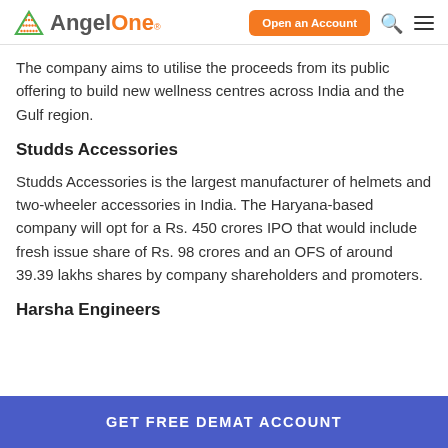AngelOne — Open an Account
The company aims to utilise the proceeds from its public offering to build new wellness centres across India and the Gulf region.
Studds Accessories
Studds Accessories is the largest manufacturer of helmets and two-wheeler accessories in India. The Haryana-based company will opt for a Rs. 450 crores IPO that would include fresh issue share of Rs. 98 crores and an OFS of around 39.39 lakhs shares by company shareholders and promoters.
Harsha Engineers
GET FREE DEMAT ACCOUNT